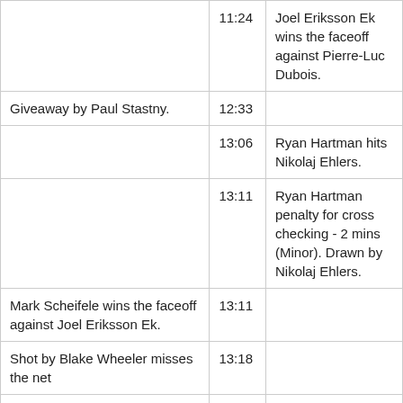| Event | Time | Details |
| --- | --- | --- |
|  | 11:24 | Joel Eriksson Ek wins the faceoff against Pierre-Luc Dubois. |
| Giveaway by Paul Stastny. | 12:33 |  |
|  | 13:06 | Ryan Hartman hits Nikolaj Ehlers. |
|  | 13:11 | Ryan Hartman penalty for cross checking - 2 mins (Minor). Drawn by Nikolaj Ehlers. |
| Mark Scheifele wins the faceoff against Joel Eriksson Ek. | 13:11 |  |
| Shot by Blake Wheeler misses the net | 13:18 |  |
| Nikolaj Ehlers shoots Saved by | 13:49 |  |